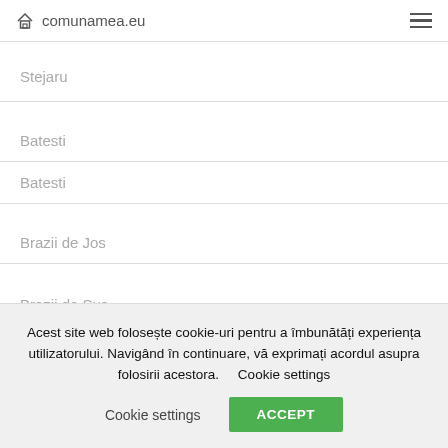comunamea.eu
Stejaru
Batesti
Batesti
Brazii de Jos
Brazii de Sus
Acest site web folosește cookie-uri pentru a îmbunătăți experiența utilizatorului. Navigând în continuare, vă exprimați acordul asupra folosirii acestora.    Cookie settings   ACCEPT